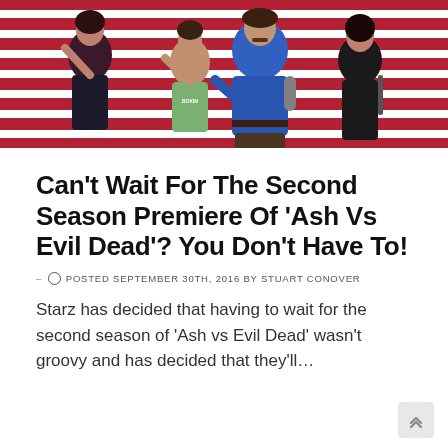[Figure (photo): Promotional photo for Ash vs Evil Dead season 2 showing three cast members posing in front of an American flag backdrop. A woman in dark outfit on the left, a man in a green t-shirt in the center, and the main character in a blue shirt with a prosthetic hand in the middle, plus a woman in black on the right.]
Can't Wait For The Second Season Premiere Of 'Ash Vs Evil Dead'? You Don't Have To!
- POSTED SEPTEMBER 30TH, 2016 BY STUART CONOVER
Starz has decided that having to wait for the second season of 'Ash vs Evil Dead' wasn't groovy and has decided that they'll…